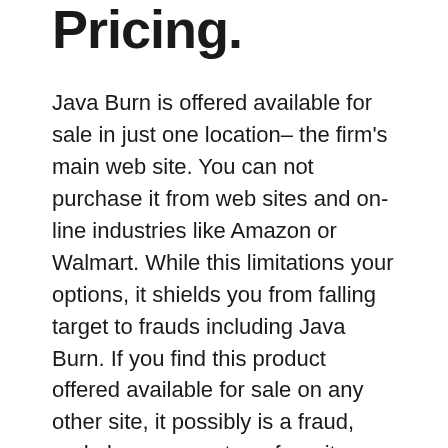Pricing.
Java Burn is offered available for sale in just one location– the firm's main web site. You can not purchase it from web sites and on-line industries like Amazon or Walmart. While this limitations your options, it shields you from falling target to frauds including Java Burn. If you find this product offered available for sale on any other site, it possibly is a fraud, and also you must run from it.
Because you can just buy from the supplier's website, you can conserve a lot of cash by eliminating brokers, intermediaries, and intermediators. You can additionally ensure obtaining the genuine deal when purchasing